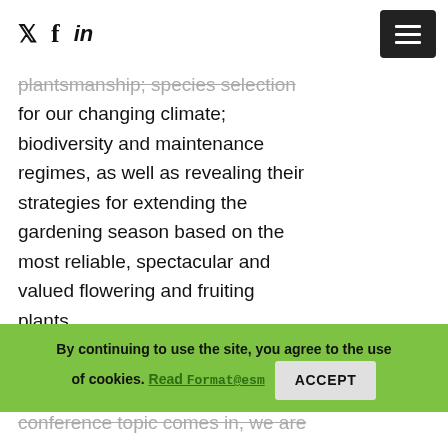Twitter Facebook LinkedIn [hamburger menu]
plantsmanship; species selection for our changing climate; biodiversity and maintenance regimes, as well as revealing their strategies for extending the gardening season based on the most reliable, spectacular and valued flowering and fruiting plants.
In case you were wondering where the 'Sex' bit of the conference topic comes in, we are looking at the relationship between sex and scent in the
By continuing to use the site, you agree to the use of cookies. Read [Format@esm ACCEPT